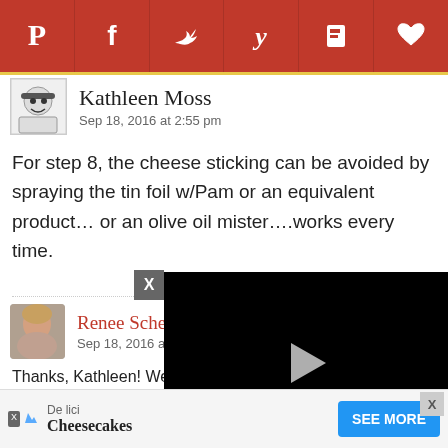[Figure (infographic): Social media sharing bar with icons for Pinterest, Facebook, Twitter, Yummly, Flipboard, and a heart/save button, on a dark red background]
Kathleen Moss
Sep 18, 2016 at 2:55 pm
For step 8, the cheese sticking can be avoided by spraying the tin foil w/Pam or an equivalent product… or an olive oil mister….works every time.
;p
Renee Sche…
Sep 18, 2016 at …
Thanks, Kathleen! We simply tent the foil but…
[Figure (screenshot): Video player overlay showing a black video with play button, progress bar, timestamp 03:42, and control icons]
[Figure (infographic): Ad banner for Cheesecakes with SEE MORE button]